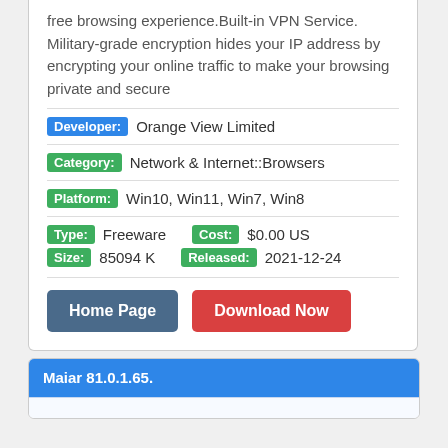free browsing experience.Built-in VPN Service. Military-grade encryption hides your IP address by encrypting your online traffic to make your browsing private and secure
Developer: Orange View Limited
Category: Network & Internet::Browsers
Platform: Win10, Win11, Win7, Win8
Type: Freeware   Cost: $0.00 US
Size: 85094 K   Released: 2021-12-24
Home Page   Download Now
Maiar 81.0.1.65.